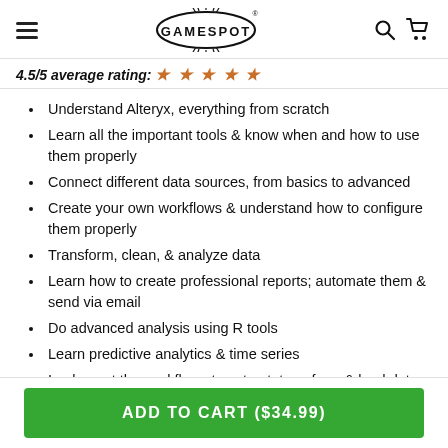GameSpot logo header with hamburger menu, search, and cart icons
4.5/5 average rating: ★ ★ ★ ★ ★
Understand Alteryx, everything from scratch
Learn all the important tools & know when and how to use them properly
Connect different data sources, from basics to advanced
Create your own workflows & understand how to configure them properly
Transform, clean, & analyze data
Learn how to create professional reports; automate them & send via email
Do advanced analysis using R tools
Learn predictive analytics & time series
Implement the workflows to extract, transform & load data
ADD TO CART ($34.99)